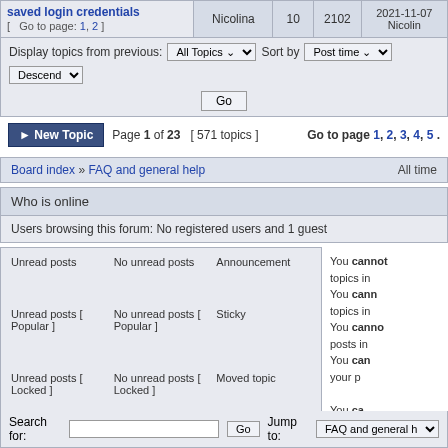| Topic | Author | Replies | Views | Last post |
| --- | --- | --- | --- | --- |
| saved login credentials
[ Go to page: 1, 2 ] | Nicolina | 10 | 2102 | 2021-11-07
Nicolin |
Display topics from previous: All Topics ⌄  Sort by  Post time ⌄  Descend
Go
► New Topic   Page 1 of 23  [ 571 topics ]   Go to page 1, 2, 3, 4, 5 .
Board index » FAQ and general help   All time
Who is online
Users browsing this forum: No registered users and 1 guest
Unread posts | No unread posts | Announcement | You cannot topics in
Unread posts [ Popular ] | No unread posts [ Popular ] | Sticky | You cann topics in
Unread posts [ Locked ] | No unread posts [ Locked ] | Moved topic | You canno posts in
                                                   You can your p
                                                   You ca attachm
Search for:   Go   Jump to: FAQ and general h